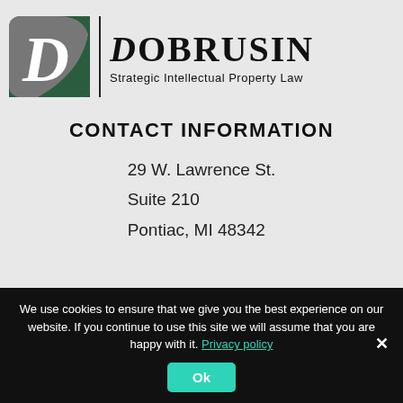[Figure (logo): Dobrusin Strategic Intellectual Property Law logo — rounded square icon with gray and dark green quadrant containing white letter D, a vertical black divider line, then bold serif text 'DOBRUSIN' with sans-serif subtitle 'Strategic Intellectual Property Law']
CONTACT INFORMATION
29 W. Lawrence St.
Suite 210
Pontiac, MI 48342
We use cookies to ensure that we give you the best experience on our website. If you continue to use this site we will assume that you are happy with it. Privacy policy